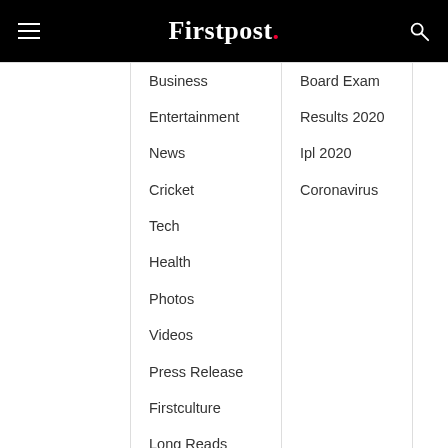Firstpost.
Business
Entertainment
News
Cricket
Tech
Health
Photos
Videos
Press Release
Firstculture
Long Reads
Latest Mobiles
Latest Tablets
Latest Laptops
Board Exam
Results 2020
Ipl 2020
Coronavirus
Network18 sites  >  Moneycontrol  News18  CNBC TV18  Overdrive
Copyright © 2022. Firstpost- All Rights Reserved.